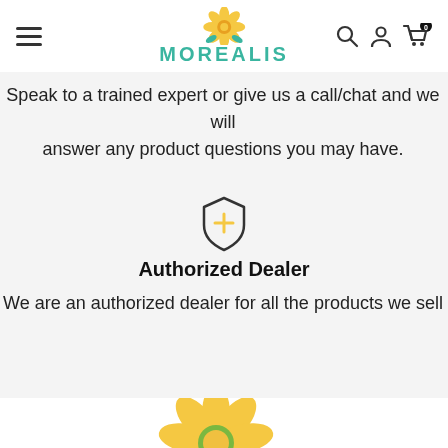MOREALIS
Speak to a trained expert or give us a call/chat and we will answer any product questions you may have.
[Figure (illustration): Shield icon with a plus/cross symbol inside, outlined in dark color]
Authorized Dealer
We are an authorized dealer for all the products we sell
[Figure (illustration): Yellow flower logo with teal leaves, partially visible at bottom of page]